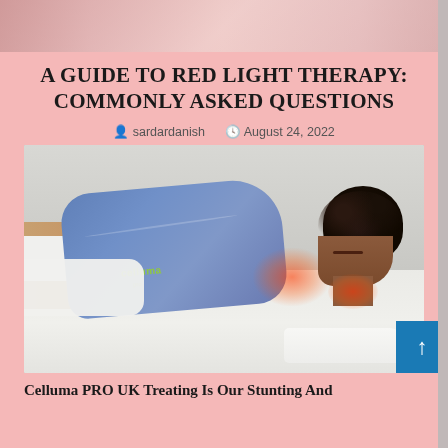[Figure (photo): Top cropped photo showing a person receiving red light therapy, pink/salmon background visible]
A GUIDE TO RED LIGHT THERAPY: COMMONLY ASKED QUESTIONS
sardardanish   August 24, 2022
[Figure (photo): Person lying face-down on a white treatment table with a Celluma Pro blue LED therapy panel draped over their upper back and neck, emitting red light. The Celluma logo is visible on the device.]
Celluma PRO UK Treating Is Our Stunting And